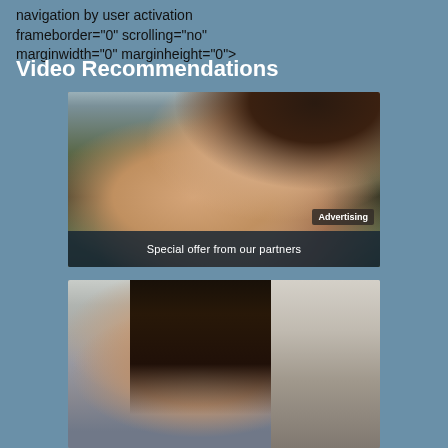navigation by user activation frameborder="0" scrolling="no" marginwidth="0" marginheight="0">.
Video Recommendations
[Figure (photo): Thumbnail image with 'Advertising' badge and 'Special offer from our partners' overlay text at bottom]
[Figure (photo): Second thumbnail image showing a person]